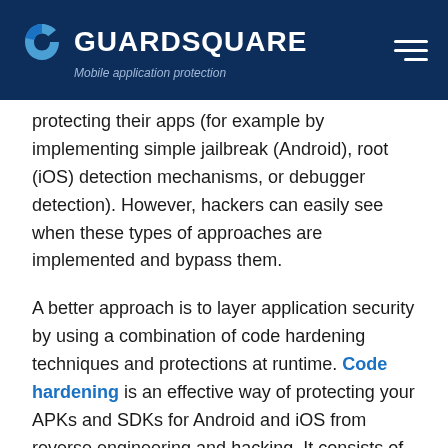GUARDSQUARE — Mobile application protection
protecting their apps (for example by implementing simple jailbreak (Android), root (iOS) detection mechanisms, or debugger detection). However, hackers can easily see when these types of approaches are implemented and bypass them.
A better approach is to layer application security by using a combination of code hardening techniques and protections at runtime. Code hardening is an effective way of protecting your APKs and SDKs for Android and iOS from reverse engineering and hacking. It consists of hardening the code at various levels through the application of multiple layers of obfuscation and encryption. Hardened code is resistant to both